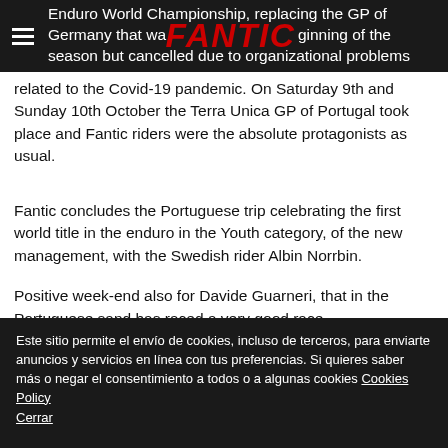Enduro World Championship, replacing the GP of Germany that was planned at the beginning of the season but cancelled due to organizational problems related to the Covid-19 pandemic. On Saturday 9th and Sunday 10th October the Terra Unica GP of Portugal took place and Fantic riders were the absolute protagonists as usual.
Fantic concludes the Portuguese trip celebrating the first world title in the enduro in the Youth category, of the new management, with the Swedish rider Albin Norrbin.
Positive week-end also for Davide Guarneri, that in the Portuguese sand has raced a very good race
Este sitio permite el envío de cookies, incluso de terceros, para enviarte anuncios y servicios en línea con tus preferencias. Si quieres saber más o negar el consentimiento a todos o a algunas cookies Cookies Policy Cerrar